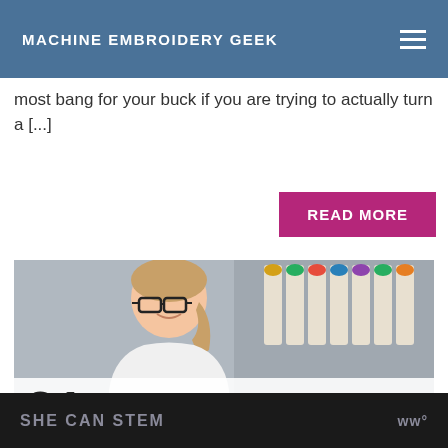MACHINE EMBROIDERY GEEK
most bang for your buck if you are trying to actually turn a [...]
READ MORE
[Figure (photo): A smiling woman with glasses and a ponytail in a white lab coat, standing at an embroidery machine with colorful thread spools in the background. Overlay text reads '21 WAYS TO MARKET YOUR EMBROIDERY']
SHE CAN STEM